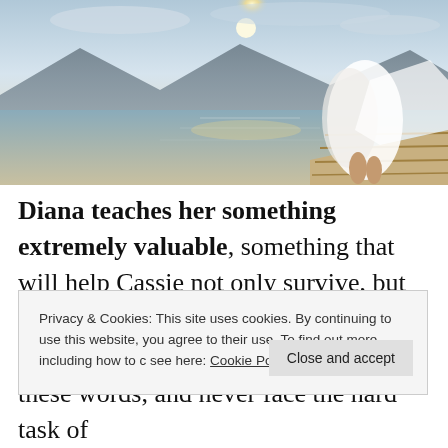[Figure (photo): A person in a white flowing dress sitting at the edge of a wooden dock over a calm lake, with mountains and bright sunlight in the background.]
Diana teaches her something extremely valuable, something that will help Cassie not only survive, but actually live, forgiveness. I
Privacy & Cookies: This site uses cookies. By continuing to use this website, you agree to their use. To find out more, including how to c see here: Cookie Policy
these words, and never face the hard task of